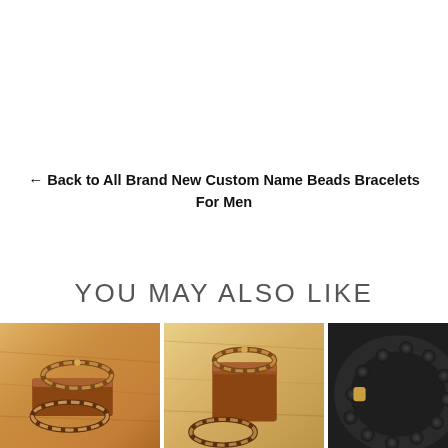← Back to All Brand New Custom Name Beads Bracelets For Men
YOU MAY ALSO LIKE
[Figure (photo): Tiger eye bead bracelets on wooden surface - product photo]
[Figure (photo): Tiger eye bead bracelets stacked on wooden block - product photo]
[Figure (photo): Black lava stone bead bracelet with gold accent - product photo]